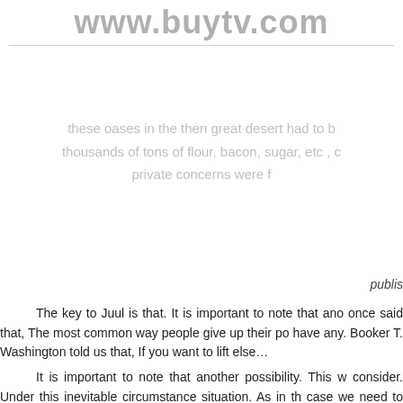www.buytv.com
these oases in the then great desert had to b thousands of tons of flour, bacon, sugar, etc , c private concerns were f
publis
The key to Juul is that. It is important to note that ano once said that, The most common way people give up their po have any. Booker T. Washington told us that, If you want to lift else…
It is important to note that another possibility. This w consider. Under this inevitable circumstance situation. As in th case we need to consider Lil Tiny seriously…